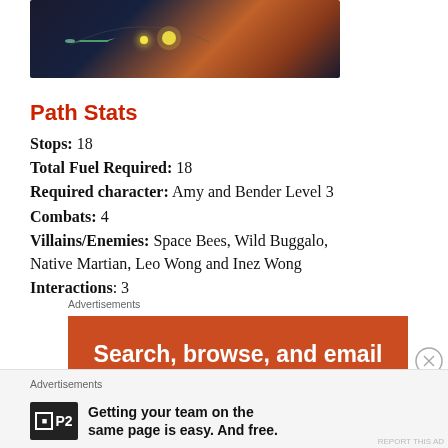[Figure (illustration): Space scene illustration showing a spacecraft/probe near a glowing yellow star with orange/red planetary surface and dark space background]
Path Stats
Stops: 18
Total Fuel Required: 18
Required character: Amy and Bender Level 3
Combats: 4
Villains/Enemies: Space Bees, Wild Buggalo, Native Martian, Leo Wong and Inez Wong
Interactions: 3
Advertisements
[Figure (other): Orange advertisement banner with white text reading: Search, browse, and email with more privacy.]
Advertisements
[Figure (other): P2 advertisement with black logo box and bold text: Getting your team on the same page is easy. And free.]